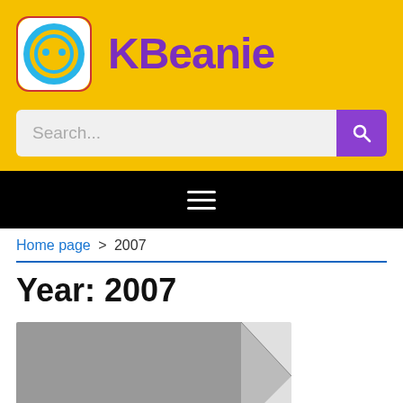[Figure (logo): KBeanie app logo with yellow background, blue circle, and face icon, alongside purple bold text 'KBeanie']
Search...
Navigation hamburger menu
Home page > 2007
Year: 2007
[Figure (photo): Partially visible product image, grey with a diagonal tear/fold effect on the right side]